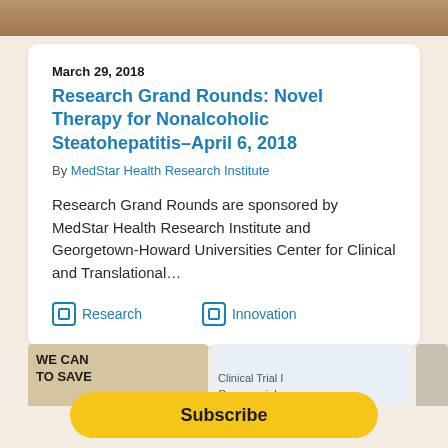[Figure (photo): Top banner photo of a room scene]
March 29, 2018
Research Grand Rounds: Novel Therapy for Nonalcoholic Steatohepatitis–April 6, 2018
By MedStar Health Research Institute
Research Grand Rounds are sponsored by MedStar Health Research Institute and Georgetown-Howard Universities Center for Clinical and Translational…
Research
Innovation
[Figure (photo): Bottom strip of event photos showing 'We Can To Save' sign, attendees, and Clinical Trial / Commercial slide]
Subscribe